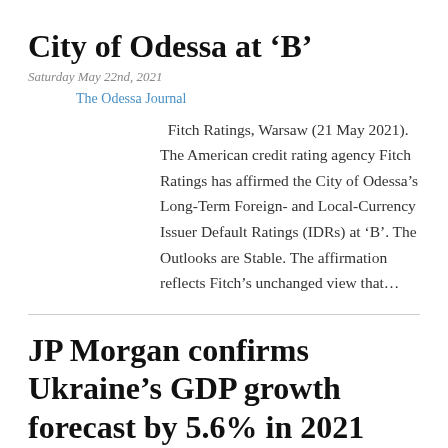City of Odessa at ‘B’
Saturday May 22nd, 2021
The Odessa Journal
Fitch Ratings, Warsaw (21 May 2021). The American credit rating agency Fitch Ratings has affirmed the City of Odessa’s Long-Term Foreign- and Local-Currency Issuer Default Ratings (IDRs) at ‘B’. The Outlooks are Stable. The affirmation reflects Fitch’s unchanged view that…
JP Morgan confirms Ukraine’s GDP growth forecast by 5.6% in 2021